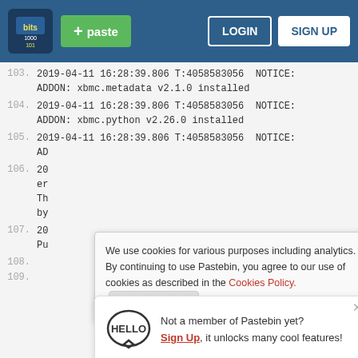Pastebin navigation bar with logo, paste button, login and sign up
103. 2019-04-11 16:28:39.806 T:4058583056  NOTICE:
ADDON: xbmc.metadata v2.1.0 installed
104. 2019-04-11 16:28:39.806 T:4058583056  NOTICE:
ADDON: xbmc.python v2.26.0 installed
105. 2019-04-11 16:28:39.806 T:4058583056  NOTICE:
AD
106. 20
er
Th
by
107. 20
Pu
We use cookies for various purposes including analytics. By continuing to use Pastebin, you agree to our use of cookies as described in the Cookies Policy. OK, I Understand
Not a member of Pastebin yet? Sign Up, it unlocks many cool features!
[Figure (infographic): Walgreens advertisement: Save BIG On Sun Care Today - Walgreens Photo]
108.
109.